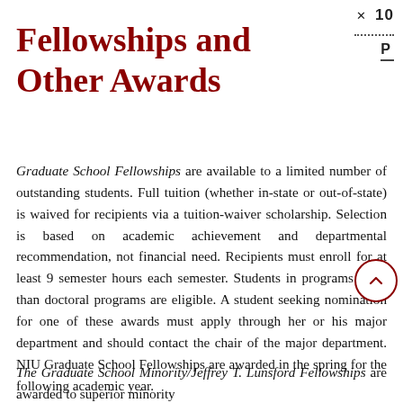10 P
Fellowships and Other Awards
Graduate School Fellowships are available to a limited number of outstanding students. Full tuition (whether in-state or out-of-state) is waived for recipients via a tuition-waiver scholarship. Selection is based on academic achievement and departmental recommendation, not financial need. Recipients must enroll for at least 9 semester hours each semester. Students in programs other than doctoral programs are eligible. A student seeking nomination for one of these awards must apply through her or his major department and should contact the chair of the major department. NIU Graduate School Fellowships are awarded in the spring for the following academic year.
The Graduate School Minority/Jeffrey T. Lunsford Fellowships are awarded to superior minority